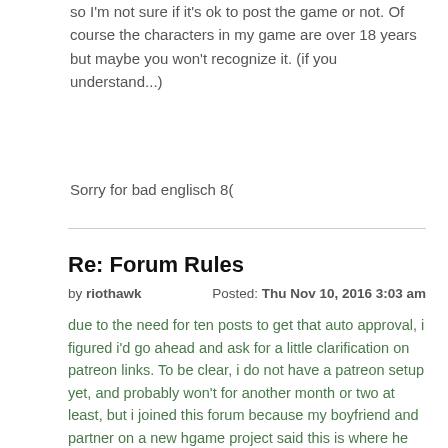so I'm not sure if it's ok to post the game or not. Of course the characters in my game are over 18 years but maybe you won't recognize it. (if you understand...)
Sorry for bad englisch 8(
Re: Forum Rules
by riothawk    Posted: Thu Nov 10, 2016 3:03 am
due to the need for ten posts to get that auto approval, i figured i'd go ahead and ask for a little clarification on patreon links. To be clear, i do not have a patreon setup yet, and probably won't for another month or two at least, but i joined this forum because my boyfriend and partner on a new hgame project said this is where he found his last team, and we're hoping to find some friends and possible coworkers here. What i wanted to ask though is, in regard to patreons without a demo yet, should we avoid posting a link to our patreon page altogether on our discussion threads for our game, or is it okay to just have a link at th bottom alongside my our tumblr url and website? it seemed you put more emphasis on the pressuring of people to pay, which i don't think having a patreon listed alongsid other websites where we are posting content would be seen as